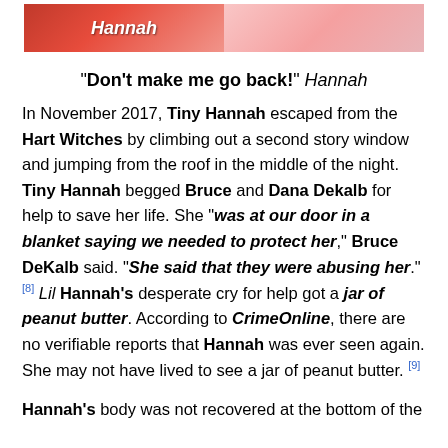[Figure (photo): Two side-by-side cropped images at top, left showing red/pink tones with italic white text 'Hannah', right showing pink tones]
“Don’t make me go back!” Hannah
In November 2017, Tiny Hannah escaped from the Hart Witches by climbing out a second story window and jumping from the roof in the middle of the night. Tiny Hannah begged Bruce and Dana Dekalb for help to save her life. She “was at our door in a blanket saying we needed to protect her,” Bruce DeKalb said. “She said that they were abusing her.”[8] Lil Hannah’s desperate cry for help got a jar of peanut butter. According to CrimeOnline, there are no verifiable reports that Hannah was ever seen again. She may not have lived to see a jar of peanut butter. [9]
Hannah’s body was not recovered at the bottom of the